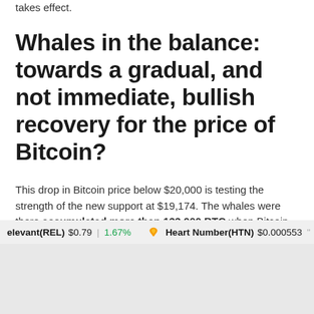takes effect.
Whales in the balance: towards a gradual, and not immediate, bullish recovery for the price of Bitcoin?
This drop in Bitcoin price below $20,000 is testing the strength of the new support at $19,174. The whales were there accumulated more than 133,000 BTC when Bitcoin lost $20,000 on June 18, 2022. This support now has to contend with pressure from selling whales.
elevant(REL) $0.79 | 1.67%   Heart Number(HTN) $0.000553 " -30.4